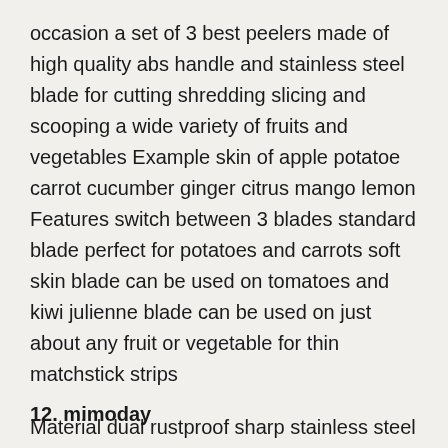occasion a set of 3 best peelers made of high quality abs handle and stainless steel blade for cutting shredding slicing and scooping a wide variety of fruits and vegetables Example skin of apple potatoe carrot cucumber ginger citrus mango lemon Features switch between 3 blades standard blade perfect for potatoes and carrots soft skin blade can be used on tomatoes and kiwi julienne blade can be used on just about any fruit or vegetable for thin matchstick strips
Material dual rustproof sharp stainless steel blades stays ultra sharp and is effortless peeling High quality abs handle is durable and do not discolor
12. mimoday